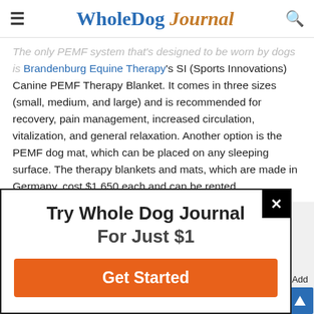Whole Dog Journal
The only PEMF system that's designed to be worn by dogs is Brandenburg Equine Therapy's SI (Sports Innovations) Canine PEMF Therapy Blanket. It comes in three sizes (small, medium, and large) and is recommended for recovery, pain management, increased circulation, vitalization, and general relaxation. Another option is the PEMF dog mat, which can be placed on any sleeping surface. The therapy blankets and mats, which are made in Germany, cost $1,650 each and can be rented.
[Figure (screenshot): Modal popup: Try Whole Dog Journal For Just $1, with Get Started button and close (X) button]